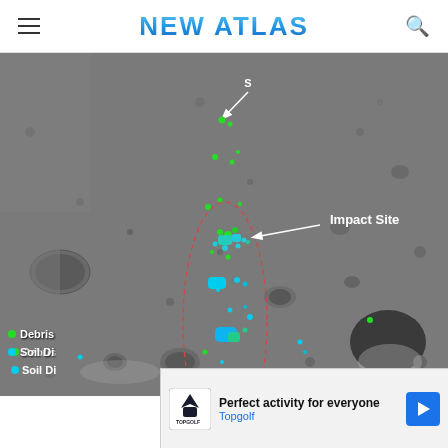NEW ATLAS
[Figure (photo): Lunar surface overhead photograph showing the Chandrayaan-2 Vikram lander impact site. The grayscale image of the Moon's cratered surface has colored markers: green dots indicating Debris and cyan/blue patches indicating Soil Disturbance. An arrow labeled 'S' points to a location near the top center, and another arrow labeled 'Impact Site' points to a cluster of colored markers in the center of the image. A dashed red ellipse outlines the impact/debris field area.]
Impact Site
S
Perfect activity for everyone
Topgolf
Debris
Soil Di
km